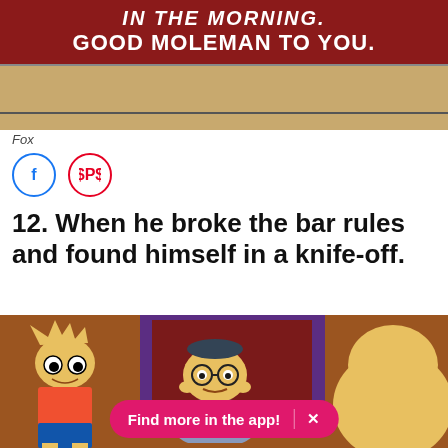[Figure (screenshot): Simpsons scene with tan background showing red banner with white text: 'IN THE MORNING. GOOD MOLEMAN TO YOU.']
Fox
[Figure (illustration): Social sharing buttons: Facebook (blue circle) and Pinterest (red circle)]
12. When he broke the bar rules and found himself in a knife-off.
[Figure (screenshot): Simpsons scene showing Moe the bartender and Bart Simpson, with a pink app promotion pill overlay reading 'Find more in the app! X']